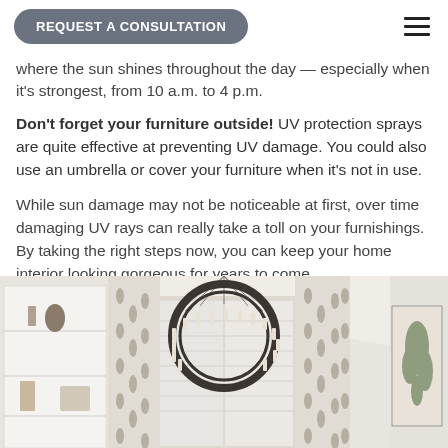REQUEST A CONSULTATION
where the sun shines throughout the day — especially when it's strongest, from 10 a.m. to 4 p.m.
Don't forget your furniture outside! UV protection sprays are quite effective at preventing UV damage. You could also use an umbrella or cover your furniture when it's not in use.
While sun damage may not be noticeable at first, over time damaging UV rays can really take a toll on your furnishings. By taking the right steps now, you can keep your home interior looking gorgeous for years to come.
[Figure (photo): Interior room photo showing a large circular chandelier with candle-style lights hanging from a vaulted ceiling, with patterned floor-to-ceiling curtains flanking shuttered windows, and built-in white shelving on the left with decorative objects.]